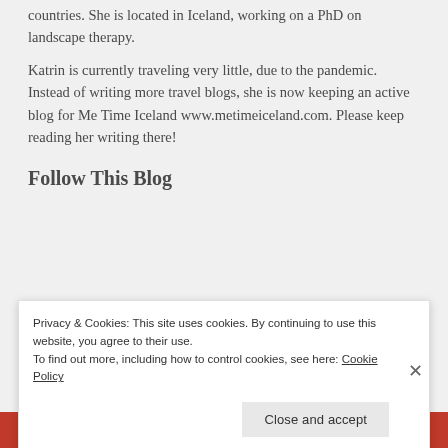countries. She is located in Iceland, working on a PhD on landscape therapy.
Katrin is currently traveling very little, due to the pandemic. Instead of writing more travel blogs, she is now keeping an active blog for Me Time Iceland www.metimeiceland.com. Please keep reading her writing there!
Follow This Blog
Privacy & Cookies: This site uses cookies. By continuing to use this website, you agree to their use.
To find out more, including how to control cookies, see here: Cookie Policy